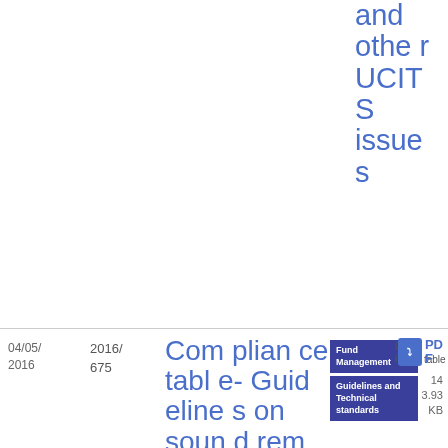and other UCITS issues
| Date | Reference | Title | Topics | Type | Download |
| --- | --- | --- | --- | --- | --- |
| 04/05/2016 | 2016/675 | Compliance table- Guidelines on sound remuneration | Fund Management / Guidelines and Technical standards | Compliance table | PDF 143.93 KB |